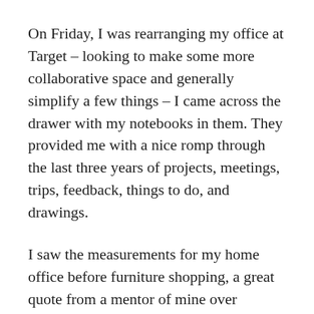On Friday, I was rearranging my office at Target – looking to make some more collaborative space and generally simplify a few things – I came across the drawer with my notebooks in them. They provided me with a nice romp through the last three years of projects, meetings, trips, feedback, things to do, and drawings.
I saw the measurements for my home office before furniture shopping, a great quote from a mentor of mine over breakfast, notes from my annual reviews of the last few years, and lots of things...